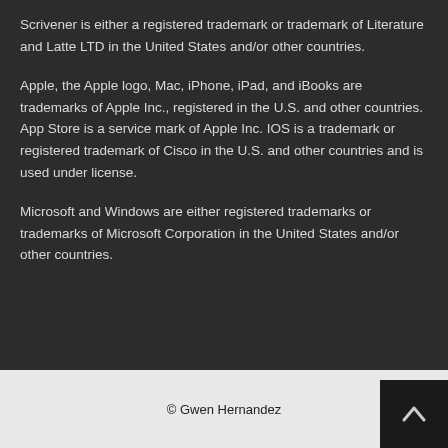Scrivener is either a registered trademark or trademark of Literature and Latte LTD in the United States and/or other countries.
Apple, the Apple logo, Mac, iPhone, iPad, and iBooks are trademarks of Apple Inc., registered in the U.S. and other countries. App Store is a service mark of Apple Inc. IOS is a trademark or registered trademark of Cisco in the U.S. and other countries and is used under license.
Microsoft and Windows are either registered trademarks or trademarks of Microsoft Corporation in the United States and/or other countries.
© Gwen Hernandez